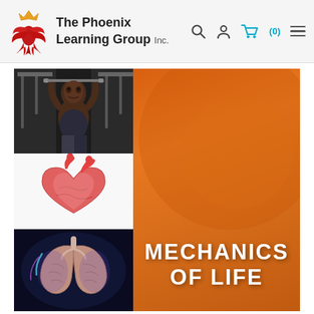The Phoenix Learning Group Inc.
[Figure (screenshot): Website screenshot showing The Phoenix Learning Group Inc. header with logo, navigation icons (search, user, cart with 0 items, hamburger menu), and a product image for 'Mechanics of Life' educational video featuring photos of a man exercising, a heart model, lungs anatomy, and a capsule pill on an orange background.]
MECHANICS OF LIFE